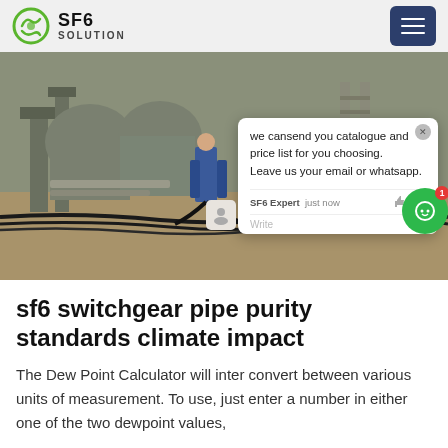SF6 SOLUTION
[Figure (photo): Industrial site with SF6 electrical equipment and a worker in blue coveralls handling cables/pipes among large gray metal electrical switchgear structures]
we cansend you catalogue and price list for you choosing. Leave us your email or whatsapp.
SF6 Expert   just now
sf6 switchgear pipe purity standards climate impact
The Dew Point Calculator will inter convert between various units of measurement. To use, just enter a number in either one of the two dewpoint values,